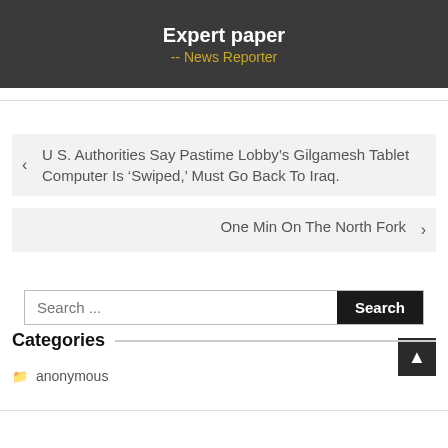Expert paper -- News Reporter
U S. Authorities Say Pastime Lobby’s Gilgamesh Tablet Computer Is ‘Swiped,’ Must Go Back To Iraq.
One Min On The North Fork
Search ...
Categories
anonymous